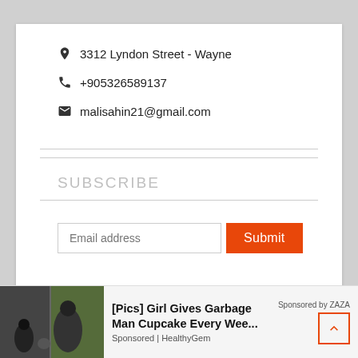3312 Lyndon Street - Wayne
+905326589137
malisahin21@gmail.com
SUBSCRIBE
Email address
Submit
[Figure (photo): Advertisement banner showing two people and a dog outdoors with text '[Pics] Girl Gives Garbage Man Cupcake Every Wee...' Sponsored by HealthyGem, with ZAZA attribution and back-to-top button]